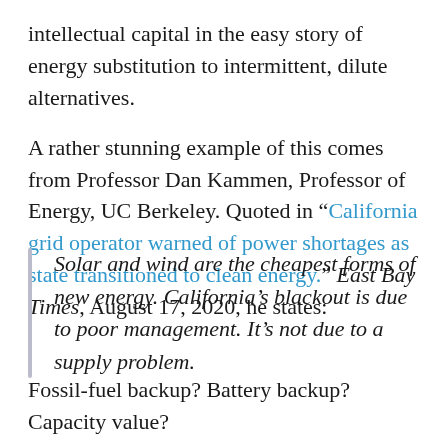intellectual capital in the easy story of energy substitution to intermittent, dilute alternatives.
A rather stunning example of this comes from Professor Dan Kammen, Professor of Energy, UC Berkeley. Quoted in “California grid operator warned of power shortages as state transitioned to clean energy.” East Bay Times, August 17, 2020, he states:
Solar and wind are the cheapest forms of new energy. California’s blackout is due to poor management. It’s not due to a supply problem.
Fossil-fuel backup? Battery backup? Capacity value?